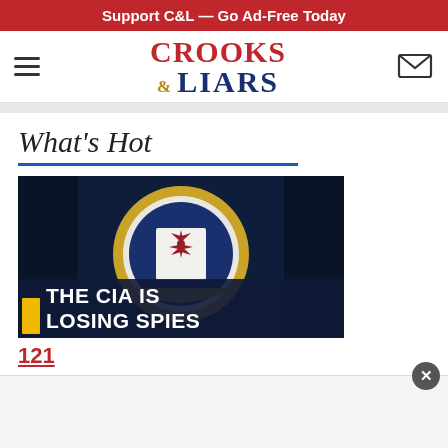Support C&L — Go Ad-Free Today
[Figure (logo): Crooks & Liars website logo with hamburger menu and mail icon]
What's Hot
[Figure (photo): CIA seal on dark blue background with lower-third banner text reading 'THE CIA IS LOSING SPIES']
121
[Figure (other): Bottom advertisement area with close button]